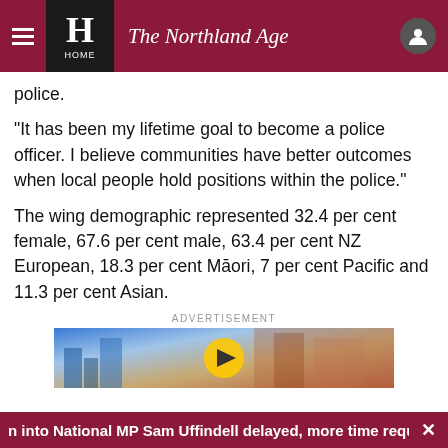The Northland Age
police.
"It has been my lifetime goal to become a police officer. I believe communities have better outcomes when local people hold positions within the police."
The wing demographic represented 32.4 per cent female, 67.6 per cent male, 63.4 per cent NZ European, 18.3 per cent Māori, 7 per cent Pacific and 11.3 per cent Asian.
ADVERTISEMENT
[Figure (photo): Advertisement image with play button overlay]
n into National MP Sam Uffindell delayed, more time reques